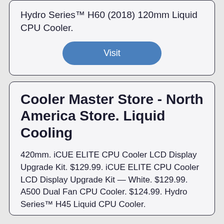Hydro Series™ H60 (2018) 120mm Liquid CPU Cooler.
Visit
Cooler Master Store - North America Store. Liquid Cooling
420mm. iCUE ELITE CPU Cooler LCD Display Upgrade Kit. $129.99. iCUE ELITE CPU Cooler LCD Display Upgrade Kit — White. $129.99. A500 Dual Fan CPU Cooler. $124.99. Hydro Series™ H45 Liquid CPU Cooler.